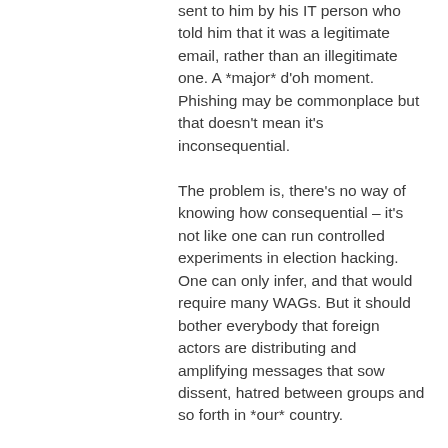sent to him by his IT person who told him that it was a legitimate email, rather than an illegitimate one. A *major* d'oh moment. Phishing may be commonplace but that doesn't mean it's inconsequential. The problem is, there's no way of knowing how consequential – it's not like one can run controlled experiments in election hacking. One can only infer, and that would require many WAGs. But it should bother everybody that foreign actors are distributing and amplifying messages that sow dissent, hatred between groups and so forth in *our* country. Again, it may be common, but it